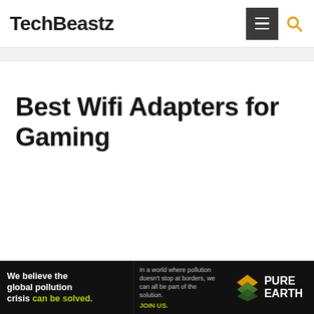TechBeastz
Best Wifi Adapters for Gaming
[Figure (other): Advertisement banner for Pure Earth: 'We believe the global pollution crisis can be solved. In a world where pollution doesn't stop at borders, we can all be part of the solution. JOIN US.' with Pure Earth logo.]